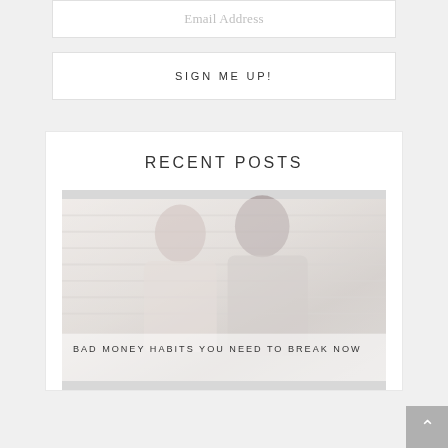Email Address
SIGN ME UP!
RECENT POSTS
[Figure (photo): Two people (a woman and a man) sitting together looking at something, in a bright room with blinds/shutters in the background. The image has a light, washed-out quality.]
BAD MONEY HABITS YOU NEED TO BREAK NOW